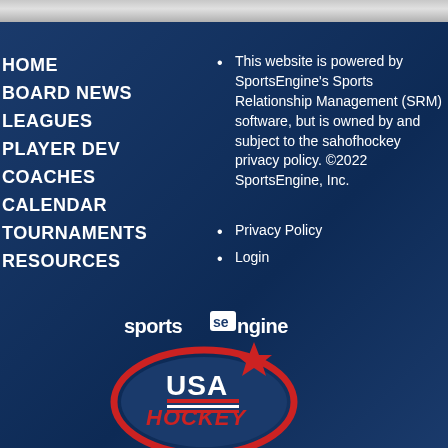HOME
BOARD NEWS
LEAGUES
PLAYER DEV
COACHES
CALENDAR
TOURNAMENTS
RESOURCES
This website is powered by SportsEngine's Sports Relationship Management (SRM) software, but is owned by and subject to the sahofhockey privacy policy. ©2022 SportsEngine, Inc.
Privacy Policy
Login
[Figure (logo): SportsEngine logo text]
[Figure (logo): USA Hockey logo with red white and blue oval design and star]